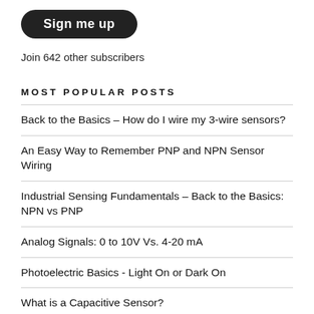[Figure (other): Dark rounded button with white bold text reading 'Sign me up']
Join 642 other subscribers
MOST POPULAR POSTS
Back to the Basics – How do I wire my 3-wire sensors?
An Easy Way to Remember PNP and NPN Sensor Wiring
Industrial Sensing Fundamentals – Back to the Basics: NPN vs PNP
Analog Signals: 0 to 10V Vs. 4-20 mA
Photoelectric Basics - Light On or Dark On
What is a Capacitive Sensor?
M12 Connector Coding